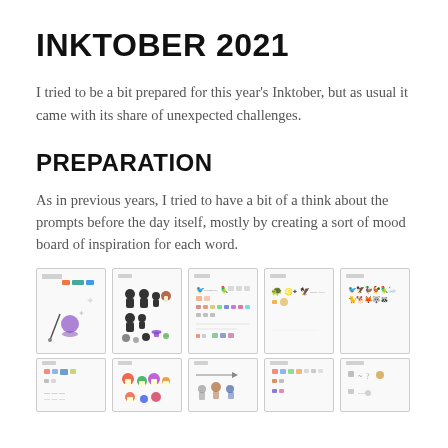INKTOBER 2021
I tried to be a bit prepared for this year's Inktober, but as usual it came with its share of unexpected challenges.
PREPARATION
As in previous years, I tried to have a bit of a think about the prompts before the day itself, mostly by creating a sort of mood board of inspiration for each word.
[Figure (illustration): Grid of small thumbnail images showing mood boards for Inktober 2021 prompts, arranged in two rows of five thumbnails each. The thumbnails contain small icons, drawings, and images related to different prompt words.]